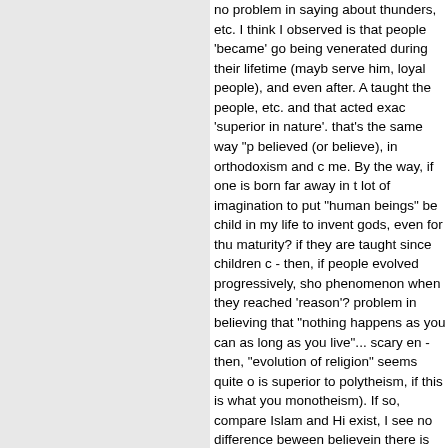no problem in saying about thunders, etc. I think I observed is that people 'became' gods being venerated during their lifetime (maybe serve him, loyal people), and even after. And taught the people, etc. and that acted exac 'superior in nature'. that's the same way "p believed (or believe), in orthodoxism and c me. By the way, if one is born far away in t lot of imagination to put "human beings" be child in my life to invent gods, even for thu maturity? if they are taught since children q - then, if people evolved progressively, sho phenomenon when they reached 'reason'? problem in believing that "nothing happens as you can as long as you live"... scary en - then, "evolution of religion" seems quite o is superior to polytheism, if this is what you monotheism). If so, compare Islam and Hi exist, I see no difference beween believein there is "atheism", consider that even in ar "educated" into atheism as well. we canno was thought was written and most of what theory of evolution, that all came from one greece, if I remember right, but we cannot which believed it first. I think that I already wrote too much.